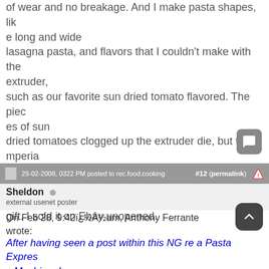of wear and no breakage. And I make pasta shapes, like long and wide lasagna pasta, and flavors that I couldn't make with the extruder, such as our favorite sun dried tomato flavored. The pieces of sun dried tomatoes clogged up the extruder die, but the Imperia incorporates them easily. A few years ago I got another extruder as a gift. I sold it on Ebay unopened.
29-02-2008, 0322 PM posted to rec.food.cooking  #12 (permalink)
Sheldon
external usenet poster
On Feb 28, 9:42¿½am, Anthony Ferrante wrote:
After having seen a post within this NG re a Pasta Express Machine, I decided to check it out and see that it is the same machine I have.